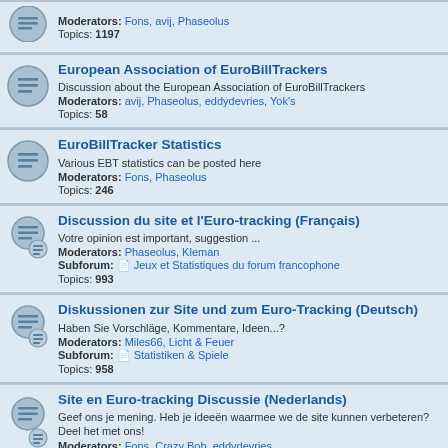Moderators: Fons, avij, Phaseolus
Topics: 1197
European Association of EuroBillTrackers
Discussion about the European Association of EuroBillTrackers
Moderators: avij, Phaseolus, eddydevries, Yok's
Topics: 58
EuroBillTracker Statistics
Various EBT statistics can be posted here
Moderators: Fons, Phaseolus
Topics: 246
Discussion du site et l'Euro-tracking (Français)
Votre opinion est important, suggestion ...
Moderators: Phaseolus, Kleman
Subforum: Jeux et Statistiques du forum francophone
Topics: 993
Diskussionen zur Site und zum Euro-Tracking (Deutsch)
Haben Sie Vorschläge, Kommentare, Ideen...?
Moderators: Miles66, Licht & Feuer
Subforum: Statistiken & Spiele
Topics: 958
Site en Euro-tracking Discussie (Nederlands)
Geef ons je mening. Heb je ideeën waarmee we de site kunnen verbeteren? Deel het met ons!
Moderators: Fons, Crazy Bob, eddydevries
Subforum: Spelletjes & Statistieken
Topics: 2019
Discussioni sul sito e sull'Euro-tracking (Italiano)
Discussioni sul sito e sull'Euro-tracking in lingua italiana
Moderator: ravestorm
Subforum: Giochini Classificatori